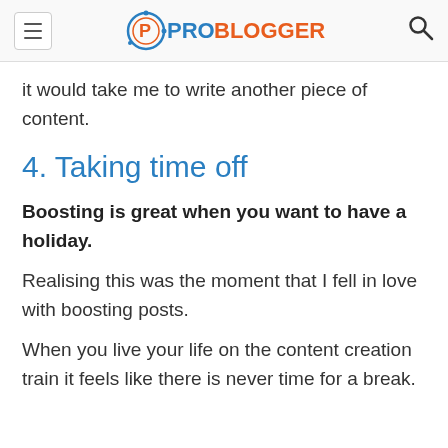PROBLOGGER
it would take me to write another piece of content.
4. Taking time off
Boosting is great when you want to have a holiday.
Realising this was the moment that I fell in love with boosting posts.
When you live your life on the content creation train it feels like there is never time for a break.